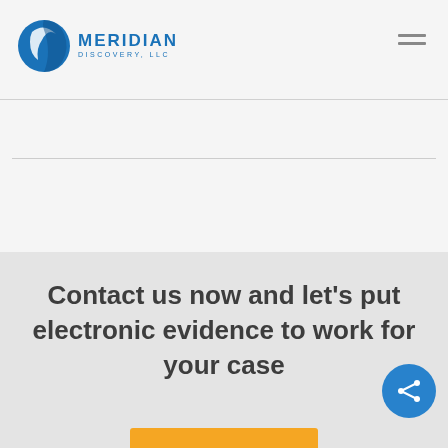[Figure (logo): Meridian Discovery LLC logo with blue globe icon and company name]
Contact us now and let's put electronic evidence to work for your case